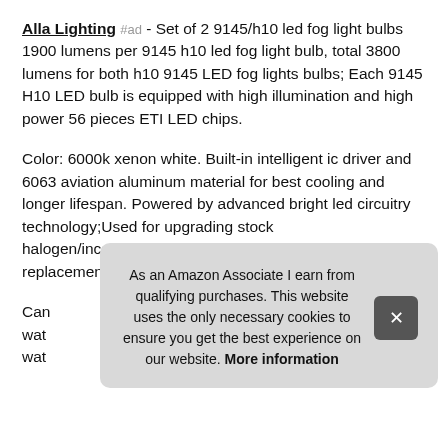Alla Lighting #ad - Set of 2 9145/h10 led fog light bulbs 1900 lumens per 9145 h10 led fog light bulb, total 3800 lumens for both h10 9145 LED fog lights bulbs; Each 9145 H10 LED bulb is equipped with high illumination and high power 56 pieces ETI LED chips.
Color: 6000k xenon white. Built-in intelligent ic driver and 6063 aviation aluminum material for best cooling and longer lifespan. Powered by advanced bright led circuitry technology;Used for upgrading stock halogen/incandescent 9140 9145 H10 fog light lamp replacement for automotive cars, trucks, vans, SUVs.
Can... wat... wat...
As an Amazon Associate I earn from qualifying purchases. This website uses the only necessary cookies to ensure you get the best experience on our website. More information